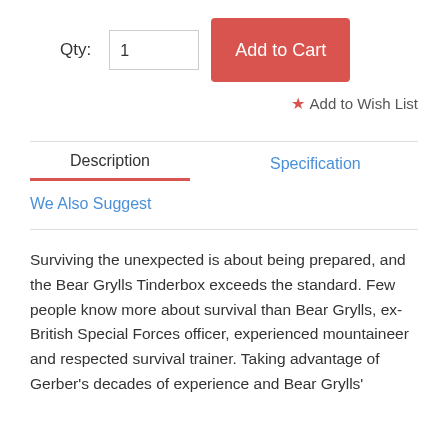Qty: 1  Add to Cart
★ Add to Wish List
Description
Specification
We Also Suggest
Surviving the unexpected is about being prepared, and the Bear Grylls Tinderbox exceeds the standard. Few people know more about survival than Bear Grylls, ex-British Special Forces officer, experienced mountaineer and respected survival trainer. Taking advantage of Gerber's decades of experience and Bear Grylls'